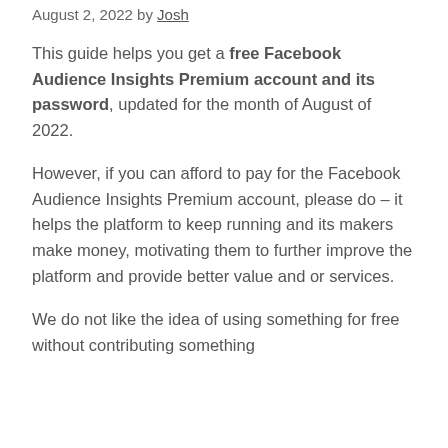August 2, 2022 by Josh
This guide helps you get a free Facebook Audience Insights Premium account and its password, updated for the month of August of 2022.
However, if you can afford to pay for the Facebook Audience Insights Premium account, please do – it helps the platform to keep running and its makers make money, motivating them to further improve the platform and provide better value and or services.
We do not like the idea of using something for free without contributing something